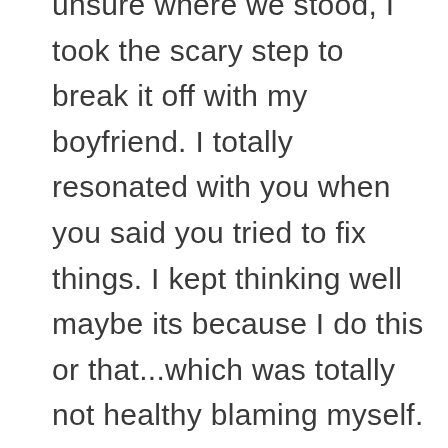unsure where we stood, I took the scary step to break it off with my boyfriend. I totally resonated with you when you said you tried to fix things. I kept thinking well maybe its because I do this or that...which was totally not healthy blaming myself. Finally I decided to reach out and seek Godly counsel and I have been able to see things in a different light. Although my heart is sad, I feel a sense of peace and freedom in knowing that I can trust Him, God knows what is best. I hope that this